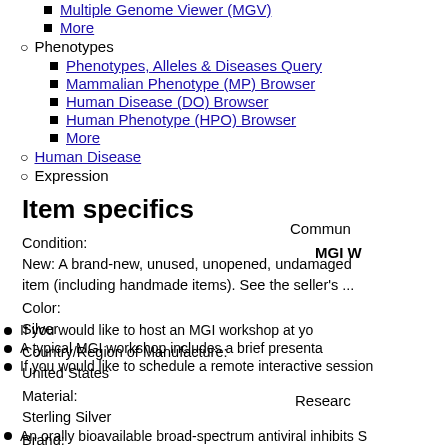Multiple Genome Viewer (MGV)
More
Phenotypes
Phenotypes, Alleles & Diseases Query
Mammalian Phenotype (MP) Browser
Human Disease (DO) Browser
Human Phenotype (HPO) Browser
More
Human Disease
Expression
Item specifics
Condition:
New: A brand-new, unused, unopened, undamaged item (including handmade items). See the seller's ...
Color:
Silver
Country/Region of Manufacture:
United States
Material:
Sterling Silver
Brand:
Unbranded